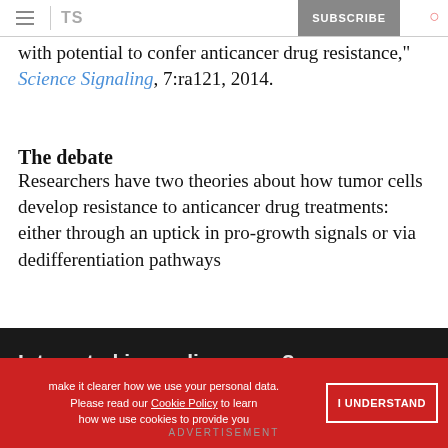TS | SUBSCRIBE
with potential to confer anticancer drug resistance," Science Signaling, 7:ra121, 2014.
The debate
Researchers have two theories about how tumor cells develop resistance to anticancer drug treatments: either through an uptick in pro-growth signals or via dedifferentiation pathways
Interested in reading more?
make it clearer how we use your personal data. Please read our Cookie Policy to learn how we use cookies to provide you
I UNDERSTAND
ADVERTISEMENT